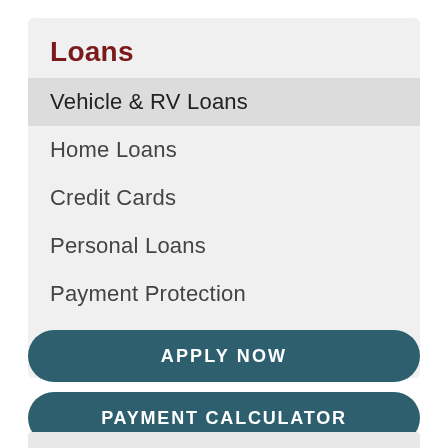Loans
Vehicle & RV Loans
Home Loans
Credit Cards
Personal Loans
Payment Protection
Apply Now
APPLY NOW
PAYMENT CALCULATOR